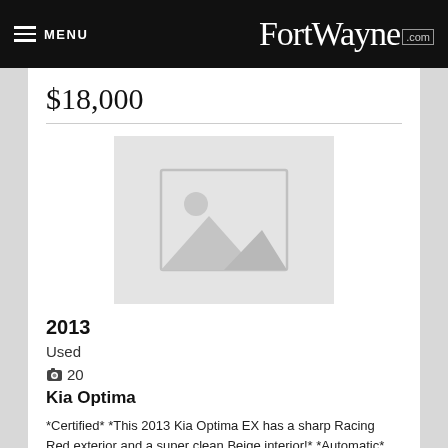MENU FortWayne.com
$18,000
[Figure (photo): Placeholder image with mountain/landscape icon indicating no photo available]
2013
Used
📷 20
Kia Optima
*Certified* *This 2013 Kia Optima EX has a sharp Racing Red exterior and a super clean Beige interior!* *Automatic* *Low Miles* *Popular Color* *Call Dealer ...
Fort Wayne Toyota Kia Lexus